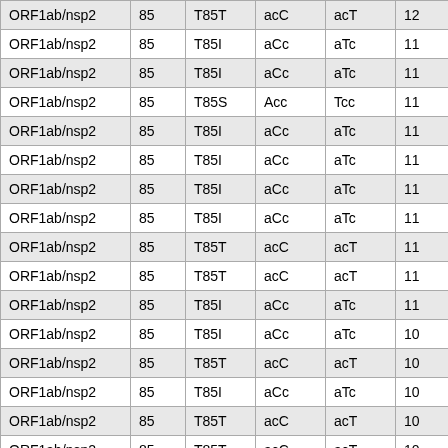| ORF1ab/nsp2 | 85 | T85T | acC | acT | 12… |
| ORF1ab/nsp2 | 85 | T85I | aCc | aTc | 11… |
| ORF1ab/nsp2 | 85 | T85I | aCc | aTc | 11… |
| ORF1ab/nsp2 | 85 | T85S | Acc | Tcc | 11… |
| ORF1ab/nsp2 | 85 | T85I | aCc | aTc | 11… |
| ORF1ab/nsp2 | 85 | T85I | aCc | aTc | 11… |
| ORF1ab/nsp2 | 85 | T85I | aCc | aTc | 11… |
| ORF1ab/nsp2 | 85 | T85I | aCc | aTc | 11… |
| ORF1ab/nsp2 | 85 | T85T | acC | acT | 11… |
| ORF1ab/nsp2 | 85 | T85T | acC | acT | 11… |
| ORF1ab/nsp2 | 85 | T85I | aCc | aTc | 11… |
| ORF1ab/nsp2 | 85 | T85I | aCc | aTc | 10… |
| ORF1ab/nsp2 | 85 | T85T | acC | acT | 10… |
| ORF1ab/nsp2 | 85 | T85I | aCc | aTc | 10… |
| ORF1ab/nsp2 | 85 | T85T | acC | acT | 10… |
| ORF1ab/nsp2 | 85 | T85T | acC | acT | 10… |
| ORF1ab/nsp2 | 85 | T85T | acC | acT | 9… |